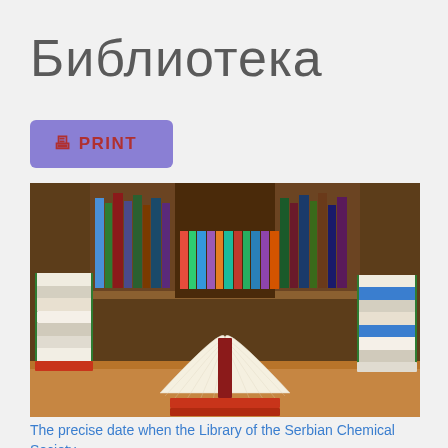Библиотека
🖶 PRINT
[Figure (photo): Stacks of books on a wooden table with an open book in the center, and bookshelves filled with books in the background.]
The precise date when the Library of the Serbian Chemical Society